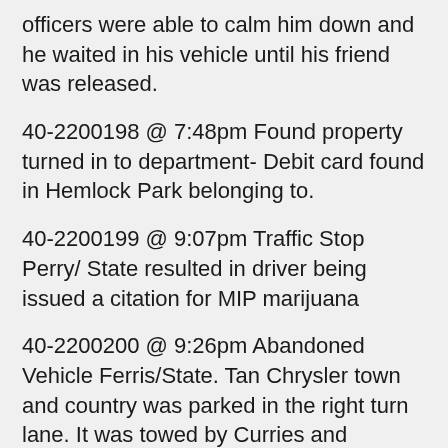officers were able to calm him down and he waited in his vehicle until his friend was released.
40-2200198 @ 7:48pm Found property turned in to department- Debit card found in Hemlock Park belonging to.
40-2200199 @ 9:07pm Traffic Stop Perry/ State resulted in driver being issued a citation for MIP marijuana
40-2200200 @ 9:26pm Abandoned Vehicle Ferris/State. Tan Chrysler town and country was parked in the right turn lane. It was towed by Curries and impounded.
40-2200201 @ 9:58pm Noise 400 block S Michigan, noise warning was issued to resident
1/29
40-2200202 @ 10:04am Larceny 300 block Morrison